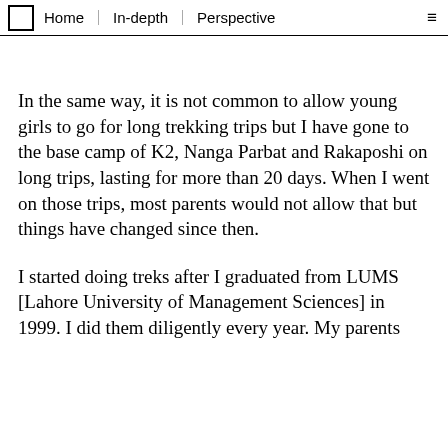Home | In-depth | Perspective
In the same way, it is not common to allow young girls to go for long trekking trips but I have gone to the base camp of K2, Nanga Parbat and Rakaposhi on long trips, lasting for more than 20 days. When I went on those trips, most parents would not allow that but things have changed since then.
I started doing treks after I graduated from LUMS [Lahore University of Management Sciences] in 1999. I did them diligently every year. My parents